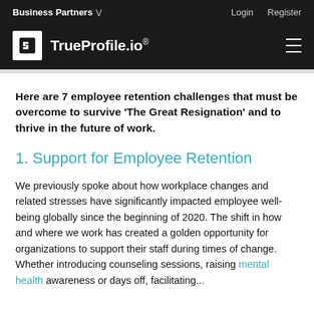Business Partners   Login   Register
TrueProfile.io®
Here are 7 employee retention challenges that must be overcome to survive 'The Great Resignation' and to thrive in the future of work.
1. Support for Employee Retention
We previously spoke about how workplace changes and related stresses have significantly impacted employee well-being globally since the beginning of 2020. The shift in how and where we work has created a golden opportunity for organizations to support their staff during times of change. Whether introducing counseling sessions, raising mental health awareness or days off, facilitating...